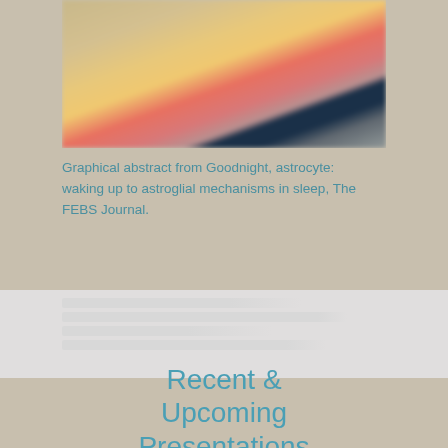[Figure (photo): Blurred graphical abstract image showing warm golden-yellow and pink-red tones with a dark navy blue section, appearing to be a neuroscience-related graphical abstract]
Graphical abstract from Goodnight, astrocyte: waking up to astroglial mechanisms in sleep, The FEBS Journal.
[Figure (other): Gray banner section with lighter gray background, partially obscured text]
Recent & Upcoming Presentations